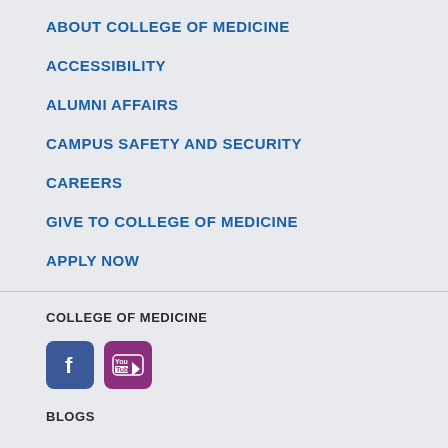ABOUT COLLEGE OF MEDICINE
ACCESSIBILITY
ALUMNI AFFAIRS
CAMPUS SAFETY AND SECURITY
CAREERS
GIVE TO COLLEGE OF MEDICINE
APPLY NOW
COLLEGE OF MEDICINE
[Figure (logo): Facebook and YouTube social media icons]
BLOGS